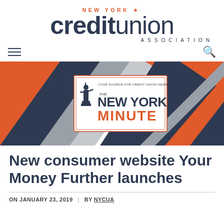NEW YORK creditunion ASSOCIATION
[Figure (illustration): The New York Minute newsletter banner with abstract geometric shapes in navy, orange, and gray. Center shows 'THE NEW YORK MINUTE' logo with Statue of Liberty graphic and text 'YOUR SOURCE FOR CREDIT UNION NEWS'.]
New consumer website Your Money Further launches
ON JANUARY 23, 2019 | BY NYCUA